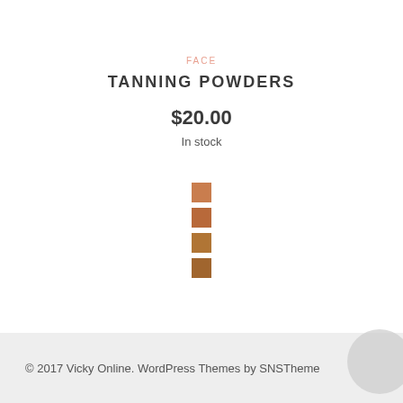FACE
TANNING POWDERS
$20.00
In stock
[Figure (illustration): Four stacked square color swatches in varying shades of tan/brown: light tan, medium tan, medium brown, darker brown]
© 2017 Vicky Online. WordPress Themes by SNSTheme